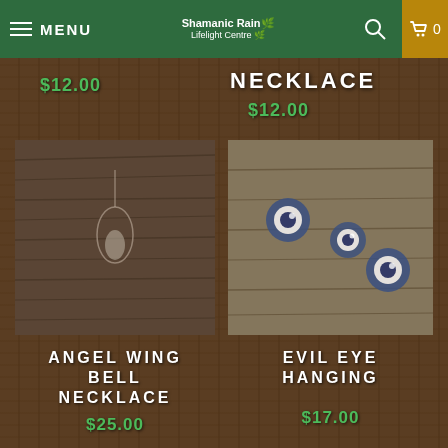MENU | Shamanic Rain Lifelight Centre | 0
$12.00
NECKLACE $12.00
[Figure (photo): Angel wing bell necklace pendant on wooden background]
[Figure (photo): Evil eye hanging bracelet/jewelry on wooden background]
ANGEL WING BELL NECKLACE
$25.00
EVIL EYE HANGING
$17.00